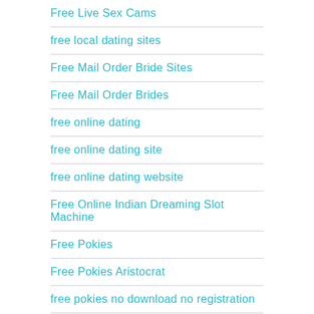Free Live Sex Cams
free local dating sites
Free Mail Order Bride Sites
Free Mail Order Brides
free online dating
free online dating site
free online dating website
Free Online Indian Dreaming Slot Machine
Free Pokies
Free Pokies Aristocrat
free pokies no download no registration
free pokies online for fun
Free Porn Sex Chat Vid…